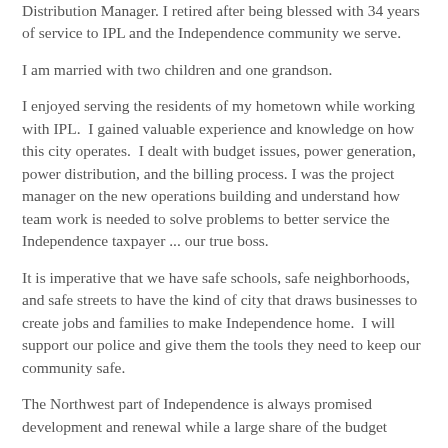Distribution Manager. I retired after being blessed with 34 years of service to IPL and the Independence community we serve.
I am married with two children and one grandson.
I enjoyed serving the residents of my hometown while working with IPL.  I gained valuable experience and knowledge on how this city operates.  I dealt with budget issues, power generation, power distribution, and the billing process. I was the project manager on the new operations building and understand how team work is needed to solve problems to better service the Independence taxpayer ... our true boss.
It is imperative that we have safe schools, safe neighborhoods, and safe streets to have the kind of city that draws businesses to create jobs and families to make Independence home.  I will support our police and give them the tools they need to keep our community safe.
The Northwest part of Independence is always promised development and renewal while a large share of the budget